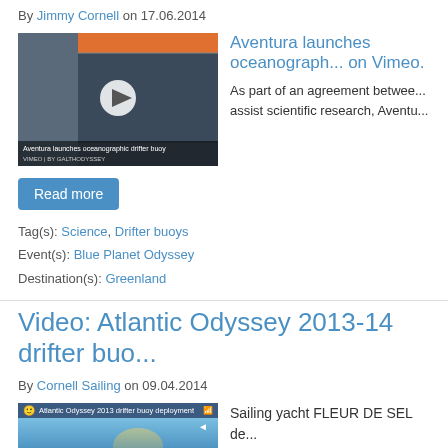By Jimmy Cornell on 17.06.2014
[Figure (photo): Video thumbnail showing Aventura launches oceanographic drifter buoy with a play button overlay]
Aventura launches oceanograph... on Vimeo. As part of an agreement betwee... assist scientific research, Aventu...
Read more
Tag(s): Science, Drifter buoys
Event(s): Blue Planet Odyssey
Destination(s): Greenland
Video: Atlantic Odyssey 2013-14 drifter buo...
By Cornell Sailing on 09.04.2014
[Figure (screenshot): Video screenshot of Atlantic Odyssey 2013 drifter buoy deployment showing ocean from boat perspective]
Sailing yacht FLEUR DE SEL de... Atmospheric Administration, USA...